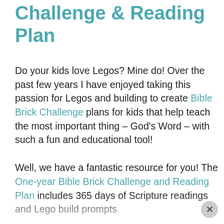Challenge & Reading Plan
Do your kids love Legos? Mine do! Over the past few years I have enjoyed taking this passion for Legos and building to create Bible Brick Challenge plans for kids that help teach the most important thing – God's Word – with such a fun and educational tool!
Well, we have a fantastic resource for you! The One-year Bible Brick Challenge and Reading Plan includes 365 days of Scripture readings and Lego build prompts